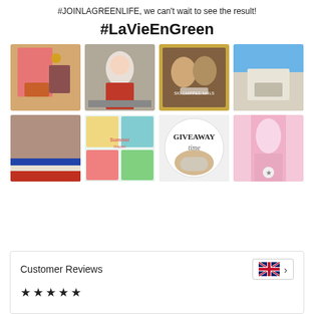#JOINLAGREENLIFE, we can't wait to see the result!
#LaVieEnGreen
[Figure (photo): 2x4 grid of social media / Instagram-style photos under the #LaVieEnGreen hashtag]
Customer Reviews
[Figure (other): UK flag icon with a chevron/arrow button]